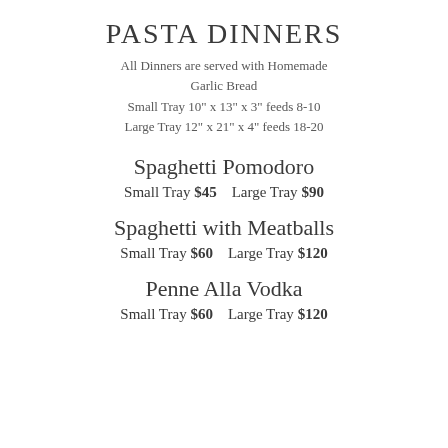PASTA DINNERS
All Dinners are served with Homemade Garlic Bread
Small Tray 10" x 13" x 3" feeds 8-10
Large Tray 12" x 21" x 4" feeds 18-20
Spaghetti Pomodoro
Small Tray $45    Large Tray $90
Spaghetti with Meatballs
Small Tray $60    Large Tray $120
Penne Alla Vodka
Small Tray $60    Large Tray $120